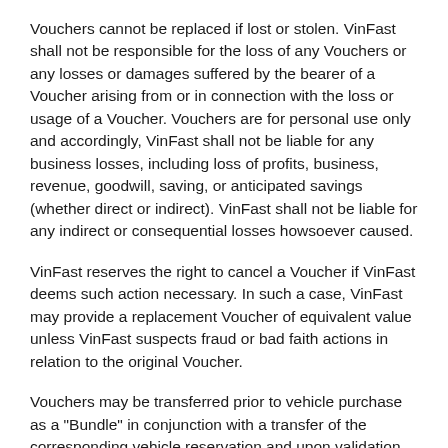Vouchers cannot be replaced if lost or stolen. VinFast shall not be responsible for the loss of any Vouchers or any losses or damages suffered by the bearer of a Voucher arising from or in connection with the loss or usage of a Voucher. Vouchers are for personal use only and accordingly, VinFast shall not be liable for any business losses, including loss of profits, business, revenue, goodwill, saving, or anticipated savings (whether direct or indirect). VinFast shall not be liable for any indirect or consequential losses howsoever caused.
VinFast reserves the right to cancel a Voucher if VinFast deems such action necessary. In such a case, VinFast may provide a replacement Voucher of equivalent value unless VinFast suspects fraud or bad faith actions in relation to the original Voucher.
Vouchers may be transferred prior to vehicle purchase as a "Bundle" in conjunction with a transfer of the corresponding vehicle reservation and upon validation by VinFast. The